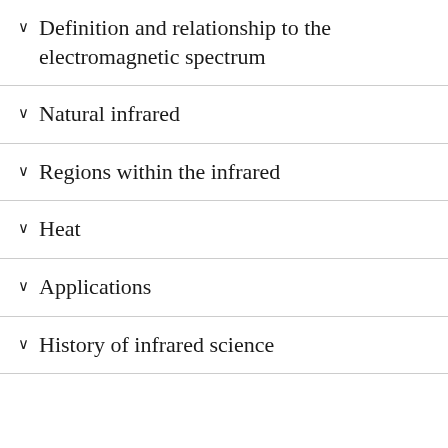Definition and relationship to the electromagnetic spectrum
Natural infrared
Regions within the infrared
Heat
Applications
History of infrared science